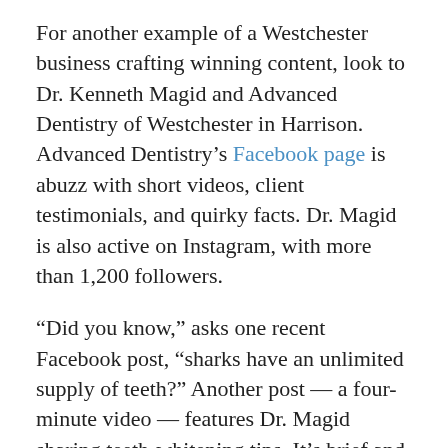For another example of a Westchester business crafting winning content, look to Dr. Kenneth Magid and Advanced Dentistry of Westchester in Harrison. Advanced Dentistry's Facebook page is abuzz with short videos, client testimonials, and quirky facts. Dr. Magid is also active on Instagram, with more than 1,200 followers.
“Did you know,” asks one recent Facebook post, “sharks have an unlimited supply of teeth?” Another post — a four-minute video — features Dr. Magid sharing teeth-whitening tips. It’s brief and informative and ends with a reminder to stop by Advanced Dentistry.
“In the last 10 years, social media has become the